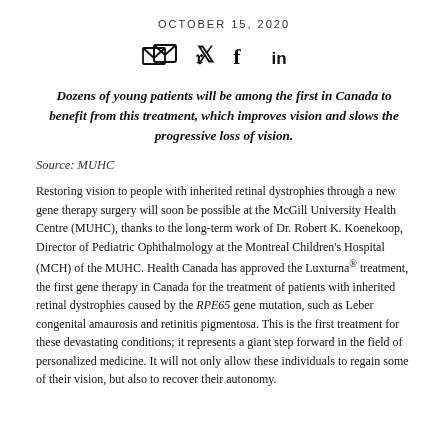OCTOBER 15, 2020
[Figure (illustration): Social sharing icons: email envelope, Twitter bird, Facebook f, LinkedIn in]
Dozens of young patients will be among the first in Canada to benefit from this treatment, which improves vision and slows the progressive loss of vision.
Source: MUHC
Restoring vision to people with inherited retinal dystrophies through a new gene therapy surgery will soon be possible at the McGill University Health Centre (MUHC), thanks to the long-term work of Dr. Robert K. Koenekoop, Director of Pediatric Ophthalmology at the Montreal Children's Hospital (MCH) of the MUHC. Health Canada has approved the Luxturna® treatment, the first gene therapy in Canada for the treatment of patients with inherited retinal dystrophies caused by the RPE65 gene mutation, such as Leber congenital amaurosis and retinitis pigmentosa. This is the first treatment for these devastating conditions; it represents a giant step forward in the field of personalized medicine. It will not only allow these individuals to regain some of their vision, but also to recover their autonomy.